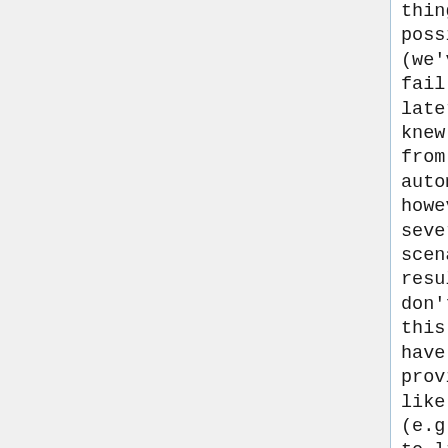things, if not now, possibly in the future (we've seen builds fail several months later). If the system knew how to recover from this automatically it would however there are several different scenarios which can result in this and we don't know which one this is. It may be you have switched providers of something like virtual/kernel (e.g. from linux-yocto to linux-yocto-dev), in that case you need to execute the clean task for both recipes and it will resolve this error. It may be you changed